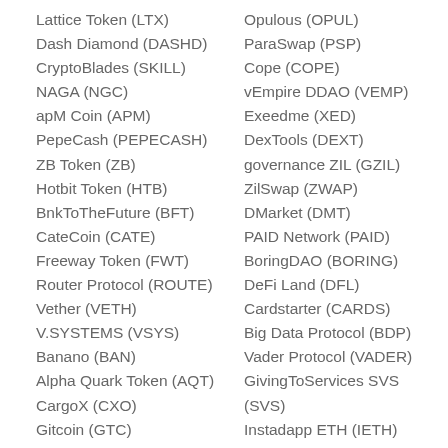Lattice Token (LTX)
Dash Diamond (DASHD)
CryptoBlades (SKILL)
NAGA (NGC)
apM Coin (APM)
PepeCash (PEPECASH)
ZB Token (ZB)
Hotbit Token (HTB)
BnkToTheFuture (BFT)
CateCoin (CATE)
Freeway Token (FWT)
Router Protocol (ROUTE)
Vether (VETH)
V.SYSTEMS (VSYS)
Banano (BAN)
Alpha Quark Token (AQT)
CargoX (CXO)
Gitcoin (GTC)
Ferrum Network (FRM)
Opulous (OPUL)
ParaSwap (PSP)
Cope (COPE)
vEmpire DDAO (VEMP)
Exeedme (XED)
DexTools (DEXT)
governance ZIL (GZIL)
ZilSwap (ZWAP)
DMarket (DMT)
PAID Network (PAID)
BoringDAO (BORING)
DeFi Land (DFL)
Cardstarter (CARDS)
Big Data Protocol (BDP)
Vader Protocol (VADER)
GivingToServices SVS (SVS)
Instadapp ETH (IETH)
Safemars (SAFEMARS)